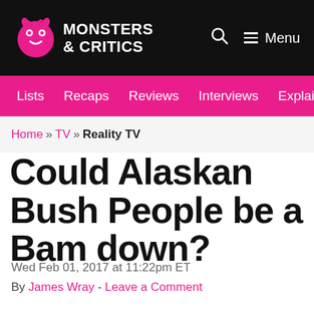Monsters & Critics | Lists | Recaps | Reviews | Interviews | Explainers | Search | Menu
Home » TV » Reality TV
Could Alaskan Bush People be a Bam down?
Wed Feb 01, 2017 at 11:22pm ET
By James Wray - Leave a Comment